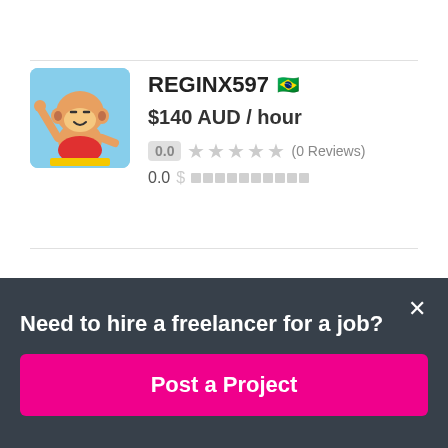[Figure (photo): Avatar image of REGINX597 — cartoon monkey NFT avatar on light blue background]
REGINX597 🇧🇷
$140 AUD / hour
0.0 ★★★★★ (0 Reviews)
0.0 $ ██████████
[Figure (photo): Profile photo of jawadhafeez521 — young man]
jawadhafeez521 🇵🇰
Need to hire a freelancer for a job?
Post a Project